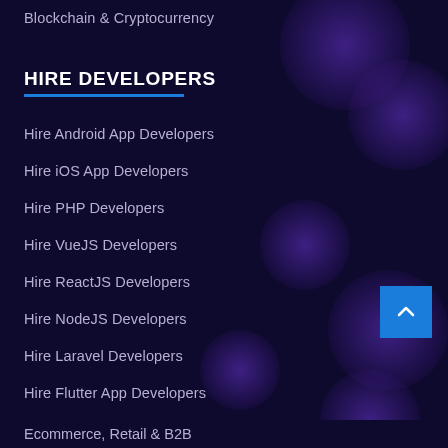Blockchain & Cryptocurrency
HIRE DEVELOPERS
Hire Android App Developers
Hire iOS App Developers
Hire PHP Developers
Hire VueJS Developers
Hire ReactJS Developers
Hire NodeJS Developers
Hire Laravel Developers
Hire Flutter App Developers
SOLUTIONS
Ecommerce, Retail & B2B